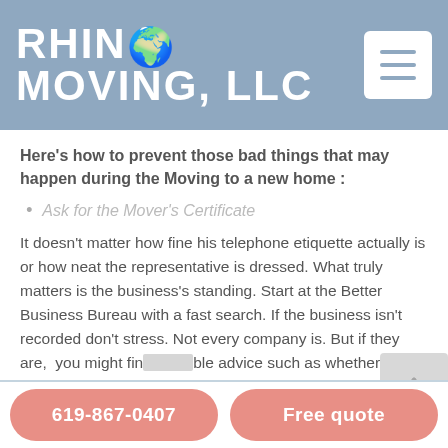RHINO MOVING, LLC
Here's how to prevent those bad things that may happen during the Moving to a new home :
Ask for the Mover's Certificate
It doesn't matter how fine his telephone etiquette actually is or how neat the representative is dressed. What truly matters is the business's standing. Start at the Better Business Bureau with a fast search. If the business isn't recorded don't stress. Not every company is. But if they are, you might find valuable advice such as whether they've had a criticism that is documented and whether the grievance was satisfactorily solved.
619-867-0407  Free quote